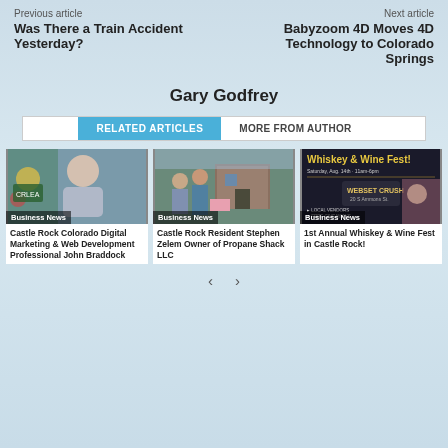Previous article
Was There a Train Accident Yesterday?
Next article
Babyzoom 4D Moves 4D Technology to Colorado Springs
Gary Godfrey
RELATED ARTICLES  MORE FROM AUTHOR
[Figure (photo): Photo of a man in a suit holding an award, Business News badge overlay]
Castle Rock Colorado Digital Marketing & Web Development Professional John Braddock
[Figure (photo): Photo of people standing outside a small building, Business News badge overlay]
Castle Rock Resident Stephen Zelem Owner of Propane Shack LLC
[Figure (photo): Whiskey & Wine Fest promotional poster, Business News badge overlay]
1st Annual Whiskey & Wine Fest in Castle Rock!